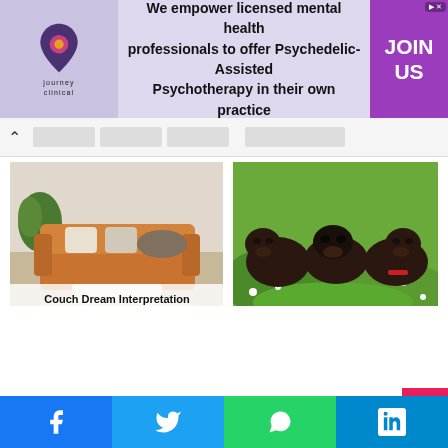[Figure (screenshot): Advertisement banner for Journey Clinical: 'We empower licensed mental health professionals to offer Psychedelic-Assisted Psychotherapy in their own practice' with JOIN US button]
[Figure (photo): Photo of a brown leather couch in a living room setting with overlay text 'Couch Dream Interpretation']
Couch Dream Interpretation
29 January 2021
[Figure (photo): Photo of three black Labrador puppies lying in grass]
Seeing a Dead Dog in a Dream Meaning
10 October 2021
Leave a Reply
Your email address will not be published. Required fields are marked